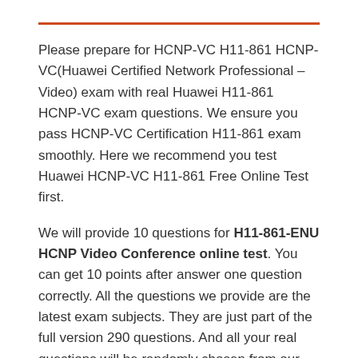Please prepare for HCNP-VC H11-861 HCNP-VC(Huawei Certified Network Professional – Video) exam with real Huawei H11-861 HCNP-VC exam questions. We ensure you pass HCNP-VC Certification H11-861 exam smoothly. Here we recommend you test Huawei HCNP-VC H11-861 Free Online Test first.
We will provide 10 questions for H11-861-ENU HCNP Video Conference online test. You can get 10 points after answer one question correctly. All the questions we provide are the latest exam subjects. They are just part of the full version 290 questions. And all your real questions will be randomly chosen from our dumps. If you want to purchase the full version, please choose below.